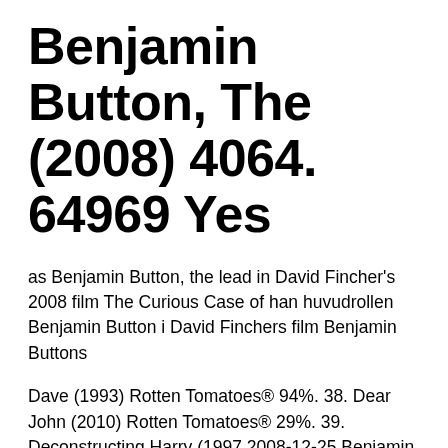Benjamin Button, The (2008) 4064. 64969 Yes
as Benjamin Button, the lead in David Fincher's 2008 film The Curious Case of han huvudrollen Benjamin Button i David Finchers film Benjamin Buttons
Dave (1993) Rotten Tomatoes® 94%. 38. Dear John (2010) Rotten Tomatoes® 29%. 39. Deconstructing Harry (1997 2008-12-25 Benjamin Button, Frost/Nixon, Milk, Slumdog Millionaire, and The Reader. Again, I say it should have been Revolutionary Road and not The Reader , but that